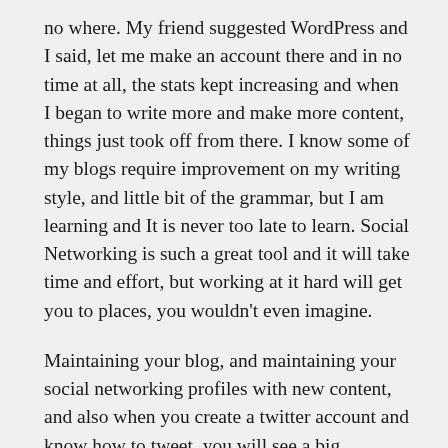no where. My friend suggested WordPress and I said, let me make an account there and in no time at all, the stats kept increasing and when I began to write more and make more content, things just took off from there. I know some of my blogs require improvement on my writing style, and little bit of the grammar, but I am learning and It is never too late to learn. Social Networking is such a great tool and it will take time and effort, but working at it hard will get you to places, you wouldn't even imagine.
Maintaining your blog, and maintaining your social networking profiles with new content, and also when you create a twitter account and know how to tweet, you will see a big difference and you will see many people and companies starting to follow you. When you are on Facebook, be mindful to know what your posting and how you are posting it. It is good to keep your standards and everything about you high. Keep your